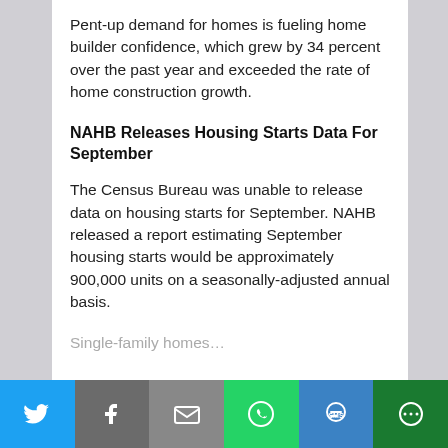Pent-up demand for homes is fueling home builder confidence, which grew by 34 percent over the past year and exceeded the rate of home construction growth.
NAHB Releases Housing Starts Data For September
The Census Bureau was unable to release data on housing starts for September. NAHB released a report estimating September housing starts would be approximately 900,000 units on a seasonally-adjusted annual basis.
Single-family homes…
[Figure (infographic): Social media sharing bar with Twitter, Facebook, Email, WhatsApp, SMS, and More buttons]